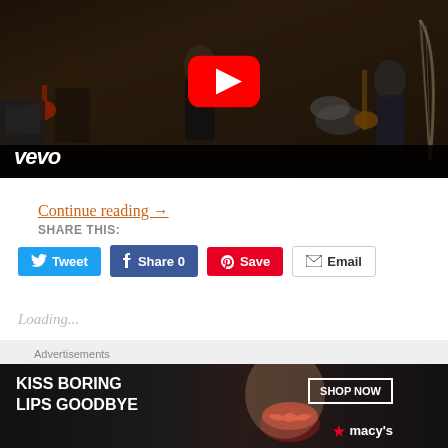[Figure (screenshot): YouTube/Vevo music video thumbnail showing a band playing in a studio/room setting with the YouTube play button overlay and Vevo logo in the bottom left]
Continue reading →
SHARE THIS:
Tweet | Share 0 | Save | Email
Loading...
Advertisements
[Figure (photo): Macy's advertisement banner: 'KISS BORING LIPS GOODBYE' with a woman's face showing red lips, and a 'SHOP NOW' button with the Macy's star logo]